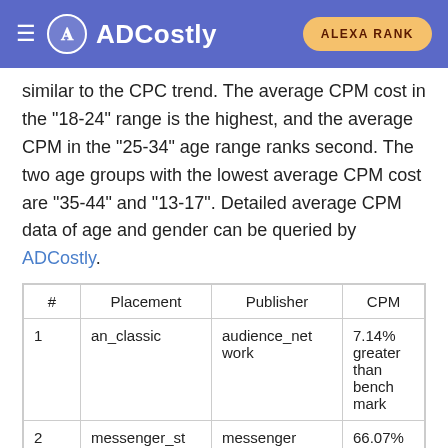ADCostly | ALEXA RANK
similar to the CPC trend. The average CPM cost in the "18-24" range is the highest, and the average CPM in the "25-34" age range ranks second. The two age groups with the lowest average CPM cost are "35-44" and "13-17". Detailed average CPM data of age and gender can be queried by ADCostly.
| # | Placement | Publisher | CPM |
| --- | --- | --- | --- |
| 1 | an_classic | audience_network | 7.14% greater than benchmark |
| 2 | messenger_stories | messenger | 66.07% greater than benchmark |